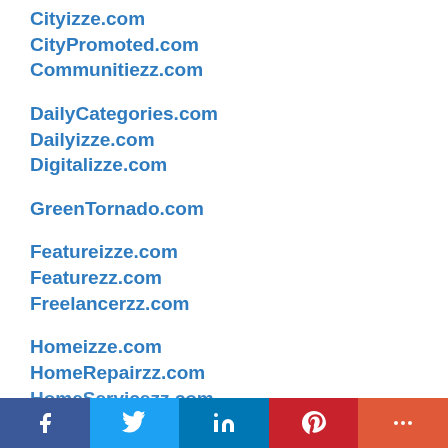Cityizze.com
CityPromoted.com
Communitiezz.com
DailyCategories.com
Dailyizze.com
Digitalizze.com
GreenTornado.com
Featureizze.com
Featurezz.com
Freelancerzz.com
Homeizze.com
HomeRepairzz.com
HomeServicezz.com
[Figure (other): Social share bar with Facebook, Twitter, LinkedIn, Pinterest, and More buttons]